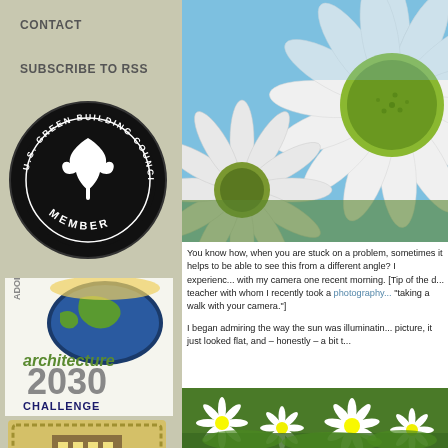CONTACT
SUBSCRIBE TO RSS
[Figure (logo): U.S. Green Building Council Member circular badge/logo in black and white with oak leaf design]
[Figure (logo): Architecture 2030 Challenge adopter logo with globe image]
[Figure (logo): Buy Local excellence badge with building image]
[Figure (photo): Close-up photo of white daisy flowers against blue sky from low angle]
You know how, when you are stuck on a problem, sometimes it helps to be able to see this from a different angle? I experienc... with my camera one recent morning. [Tip of the c... teacher with whom I recently took a photography... "taking a walk with your camera."]
I began admiring the way the sun was illuminatin... picture, it just looked flat, and – honestly – a bit t...
[Figure (photo): Wide shot of daisy flowers in a field with green foliage]